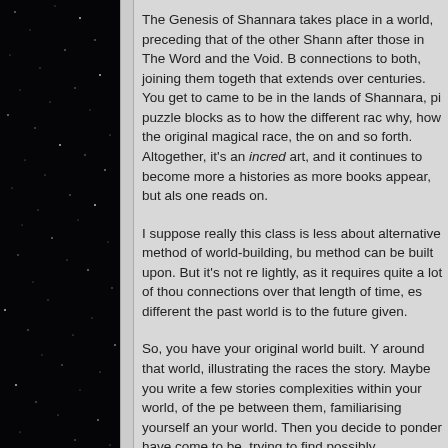[Figure (illustration): Black starfield background on the left side of the page, representing a night sky with visible stars.]
The Genesis of Shannara takes place in a world, preceding that of the other Shannara after those in The Word and the Void. But connections to both, joining them together in that extends over centuries. You get to see came to be in the lands of Shannara, pieces puzzle blocks as to how the different races why, how the original magical race, the E on and so forth. Altogether, it's an incredibly art, and it continues to become more and histories as more books appear, but also as one reads on.
I suppose really this class is less about an alternative method of world-building, but method can be built upon. But it's not recommended lightly, as it requires quite a lot of thought and connections over that length of time, especially different the past world is to the future one given.
So, you have your original world built. You around that world, illustrating the races and the story. Maybe you write a few stories complexities within your world, of the peoples between them, familiarising yourself and your world. Then you decide to ponder have come to be, trying to find possibly